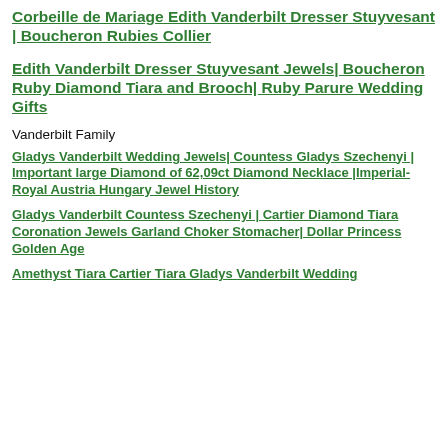Corbeille de Mariage Edith Vanderbilt Dresser Stuyvesant | Boucheron Rubies Collier
Edith Vanderbilt Dresser Stuyvesant Jewels| Boucheron Ruby Diamond Tiara and Brooch| Ruby Parure Wedding Gifts
Vanderbilt Family
Gladys Vanderbilt Wedding Jewels| Countess Gladys Szechenyi | Important large Diamond of 62,09ct Diamond Necklace |Imperial-Royal Austria Hungary Jewel History
Gladys Vanderbilt Countess Szechenyi | Cartier Diamond Tiara Coronation Jewels Garland Choker Stomacher| Dollar Princess Golden Age
Amethyst Tiara Cartier Tiara Gladys Vanderbilt Wedding